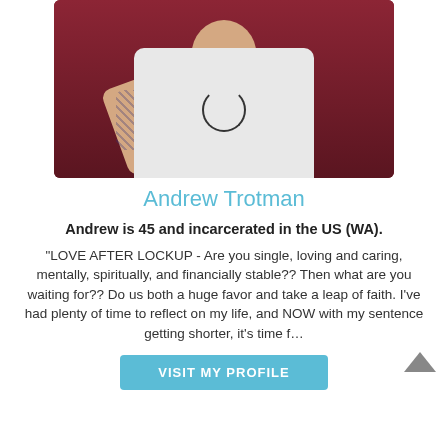[Figure (photo): Photo of Andrew Trotman, a man with beard and tattoos wearing a white shirt and necklace, against a dark red background]
Andrew Trotman
Andrew is 45 and incarcerated in the US (WA).
"LOVE AFTER LOCKUP - Are you single, loving and caring, mentally, spiritually, and financially stable?? Then what are you waiting for?? Do us both a huge favor and take a leap of faith. I've had plenty of time to reflect on my life, and NOW with my sentence getting shorter, it's time f...
VISIT MY PROFILE